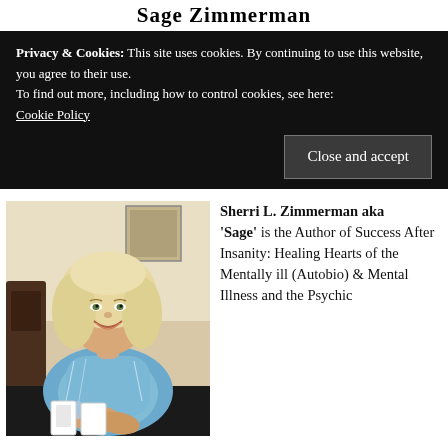Sage Zimmerman
Privacy & Cookies: This site uses cookies. By continuing to use this website, you agree to their use.
To find out more, including how to control cookies, see here: Cookie Policy
[Figure (photo): A smiling middle-aged woman with blonde hair sitting at a table with hands clasped together, wearing a blue and white patterned top.]
Sherri L. Zimmerman aka 'Sage' is the Author of Success After Insanity: Healing Hearts of the Mentally ill (Autobio) & Mental Illness and the Psychic